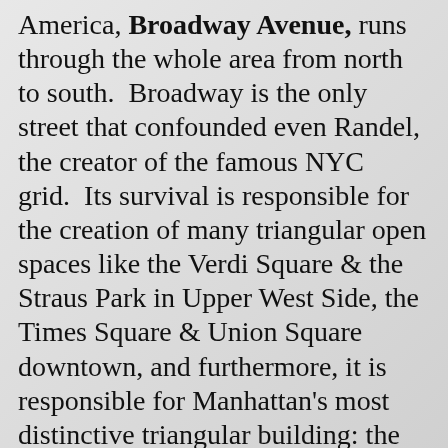America, Broadway Avenue, runs through the whole area from north to south.  Broadway is the only street that confounded even Randel, the creator of the famous NYC grid.  Its survival is responsible for the creation of many triangular open spaces like the Verdi Square & the Straus Park in Upper West Side, the Times Square & Union Square downtown, and furthermore, it is responsible for Manhattan's most distinctive triangular building: the Flatiron Building.
Broadway avenue, follows a path forged a thousand years ago by the